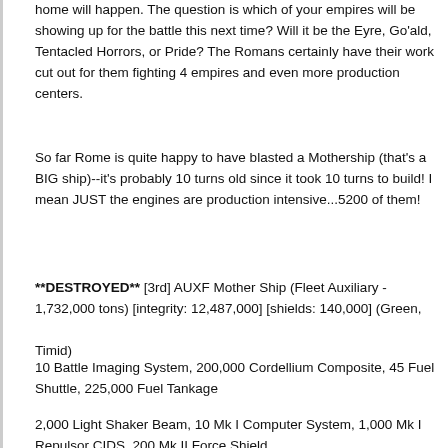home will happen. The question is which of your empires will be showing up for the battle this next time? Will it be the Eyre, Go'ald, Tentacled Horrors, or Pride? The Romans certainly have their work cut out for them fighting 4 empires and even more production centers.
So far Rome is quite happy to have blasted a Mothership (that's a BIG ship)--it's probably 10 turns old since it took 10 turns to build! I mean JUST the engines are production intensive...5200 of them!
**DESTROYED** [3rd] AUXF Mother Ship (Fleet Auxiliary - 1,732,000 tons) [integrity: 12,487,000] [shields: 140,000] (Green, Timid)
10 Battle Imaging System, 200,000 Cordellium Composite, 45 Fuel Shuttle, 225,000 Fuel Tankage
2,000 Light Shaker Beam, 10 Mk I Computer System, 1,000 Mk I Repulsor CIDS, 200 Mk II Force Shield